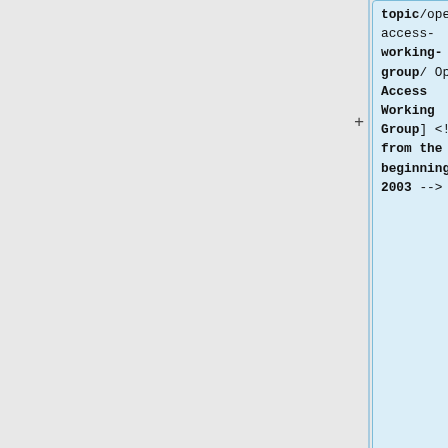topic/open-access-working-group/ Open Access Working Group] <!-- from the beginning; c 2003 -->
** Member of the New Knot Claims Assessment Committee of the [http://www.igkt.net/ International Guild of Knot Tyers]
** Member of the New Knot Claims Assessment Committee of the [http://www.igkt.net/ International Guild of Knot Tyers]